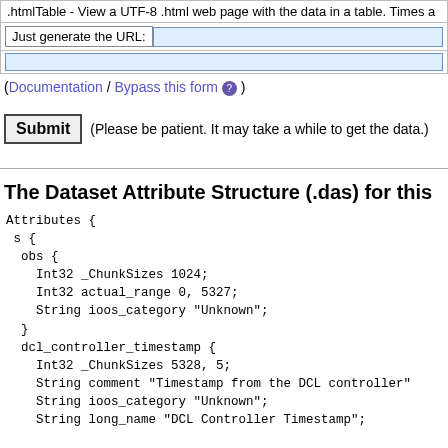.htmlTable - View a UTF-8 .html web page with the data in a table. Times a
Just generate the URL:
(Documentation / Bypass this form ? )
Submit  (Please be patient. It may take a while to get the data.)
The Dataset Attribute Structure (.das) for this
Attributes {
 s {
  obs {
    Int32 _ChunkSizes 1024;
    Int32 actual_range 0, 5327;
    String ioos_category "Unknown";
  }
  dcl_controller_timestamp {
    Int32 _ChunkSizes 5328, 5;
    String comment "Timestamp from the DCL controller"
    String ioos_category "Unknown";
    String long_name "DCL Controller Timestamp";